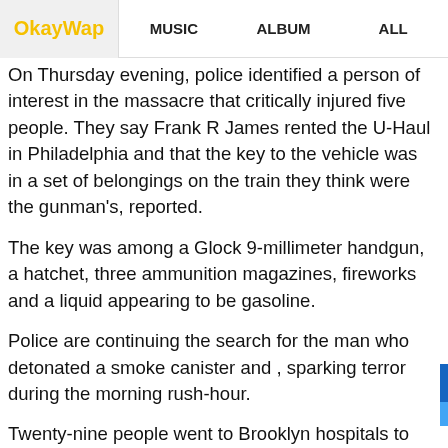OkayWap | MUSIC | ALBUM | ALL
On Thursday evening, police identified a person of interest in the massacre that critically injured five people. They say Frank R James rented the U-Haul in Philadelphia and that the key to the vehicle was in a set of belongings on the train they think were the gunman's, reported.
The key was among a Glock 9-millimeter handgun, a hatchet, three ammunition magazines, fireworks and a liquid appearing to be gasoline.
Police are continuing the search for the man who detonated a smoke canister and , sparking terror during the morning rush-hour.
Twenty-nine people went to Brooklyn hospitals to be treated for injuries following the shooting. Ten people were shot, and of those five were left in critical, but stable condition, officials said.